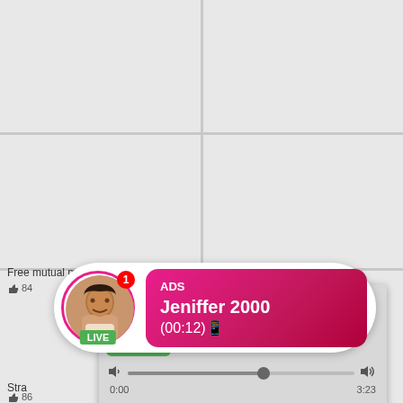[Figure (screenshot): Background grid of video thumbnail cells in a gray layout]
Free mutual male
Hot anal action Redtube Free
84
[Figure (infographic): Missed call ad overlay with green phone icon, ADS label, title '(1)Missed Call from Eliza', subtitle 'pleeease call me back.. I miss you!', and audio player with progress bar showing 0:00 to 3:23 and transport controls]
[Figure (infographic): Live notification card with circular avatar ringed in pink, LIVE badge, notification count 1, and pink-gradient box showing ADS, Jeniffer 2000, (00:12)]
Stra
865